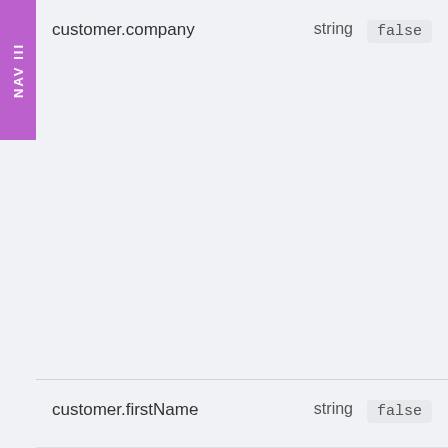NAV III
customer.company    string    false
customer.firstName    string    false